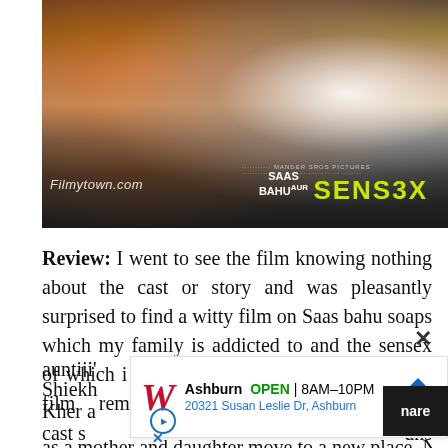[Figure (photo): Movie poster for 'Saas Bahu Aur Sensex' showing several people around a desk. Filmytown.com watermark visible. 'SAAS BAHU aur SENSEX' title text at bottom.]
Review: I went to see the film knowing nothing about the cast or story and was pleasantly surprised to find a witty film on Saas bahu soaps which my family is addicted to and the sensex of which i know little of. The characters in the film reminded me of all the auntiji' ...okh Shiekh ...are ...nare Kher a ...cast s ...uns as a mother and daughter move to a new place New